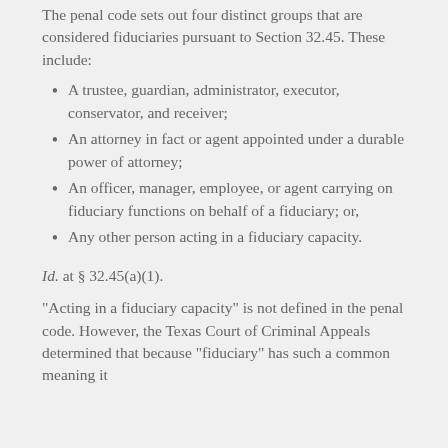The penal code sets out four distinct groups that are considered fiduciaries pursuant to Section 32.45. These include:
A trustee, guardian, administrator, executor, conservator, and receiver;
An attorney in fact or agent appointed under a durable power of attorney;
An officer, manager, employee, or agent carrying on fiduciary functions on behalf of a fiduciary; or,
Any other person acting in a fiduciary capacity.
Id. at § 32.45(a)(1).
“Acting in a fiduciary capacity” is not defined in the penal code. However, the Texas Court of Criminal Appeals determined that because “fiduciary” has such a common meaning it